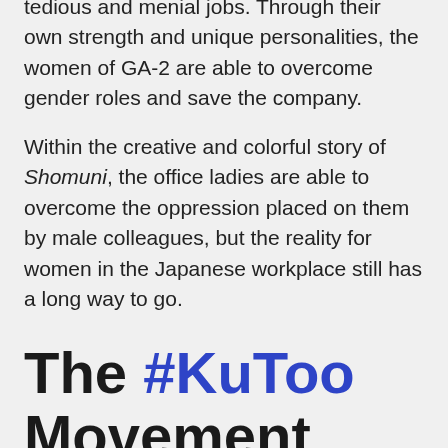tedious and menial jobs. Through their own strength and unique personalities, the women of GA-2 are able to overcome gender roles and save the company.
Within the creative and colorful story of Shomuni, the office ladies are able to overcome the oppression placed on them by male colleagues, but the reality for women in the Japanese workplace still has a long way to go.
The #KuToo Movement